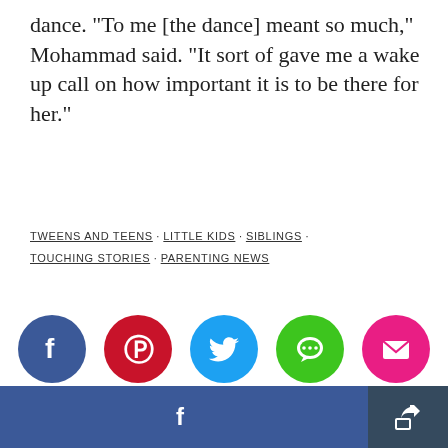dance. "To me [the dance] meant so much," Mohammad said. "It sort of gave me a wake up call on how important it is to be there for her."
TWEENS AND TEENS · LITTLE KIDS · SIBLINGS · TOUCHING STORIES · PARENTING NEWS
[Figure (infographic): Five social share buttons: Facebook (dark blue), Pinterest (dark red), Twitter (light blue), Messages (green), Email (pink/magenta), each as a circle with a white icon.]
[Figure (infographic): Bottom bar with Facebook share button (blue, left) and share/export button (dark slate, right).]